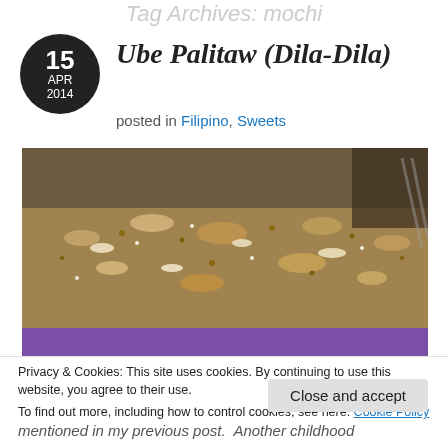Tag Archives: mochi
Ube Palitaw (Dila-Dila)
posted in Filipino, Sweets
[Figure (photo): Close-up photo of Ube Palitaw (Dila-Dila), a Filipino rice cake topped with toasted sesame seeds, shredded coconut, and sugar, showing purple ube color on the side]
Privacy & Cookies: This site uses cookies. By continuing to use this website, you agree to their use.
To find out more, including how to control cookies, see here: Cookie Policy
Close and accept
mentioned in my previous post.  Another childhood